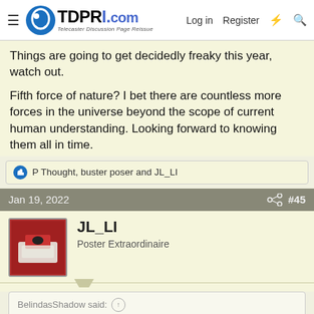TDPRI.com — Telecaster Discussion Page Reissue | Log in | Register
Things are going to get decidedly freaky this year, watch out.

Fifth force of nature? I bet there are countless more forces in the universe beyond the scope of current human understanding. Looking forward to knowing them all in time.
P Thought, buster poser and JL_LI
Jan 19, 2022  #45
JL_LI
Poster Extraordinaire
BelindasShadow said:
Things are going to get decidedly freaky this year, watch out.

Fifth force of nature? I bet there are countless more forces in the universe beyond the scope of current human understanding. Looking forward to knowing them all in time.